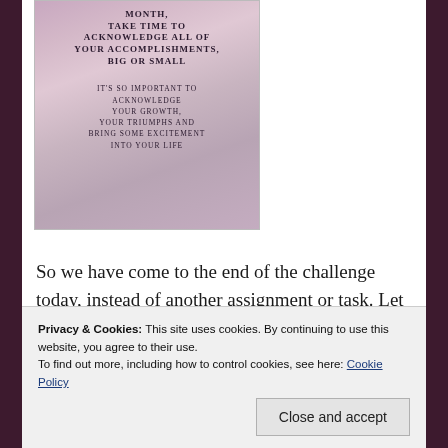[Figure (illustration): Inspirational quote image with floral/garden background. Text reads: 'MONTH, TAKE TIME TO ACKNOWLEDGE ALL OF YOUR ACCOMPLISHMENTS, BIG OR SMALL' and 'IT'S SO IMPORTANT TO ACKNOWLEDGE YOUR GROWTH, YOUR TRIUMPHS AND BRING SOME EXCITEMENT INTO YOUR LIFE']
So we have come to the end of the challenge today, instead of another assignment or task. Let me assign myself to a big old pat in the back. It's also important to acknowledge...
Privacy & Cookies: This site uses cookies. By continuing to use this website, you agree to their use. To find out more, including how to control cookies, see here: Cookie Policy
Close and accept